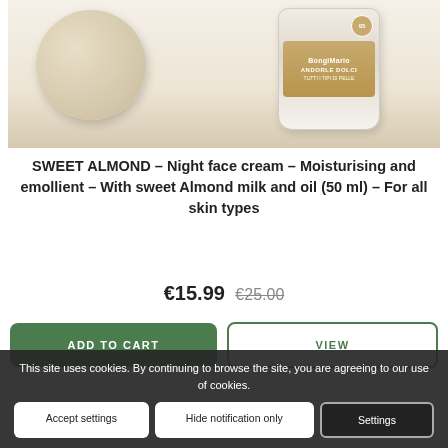[Figure (photo): Product photo of a BongiMario Sweet Almond night face cream jar with lid]
SWEET ALMOND – Night face cream – Moisturising and emollient – With sweet Almond milk and oil (50 ml) – For all skin types
€15.99  €25.00
ADD TO CART
VIEW
This site uses cookies. By continuing to browse the site, you are agreeing to our use of cookies.
Accept settings
Hide notification only
Settings